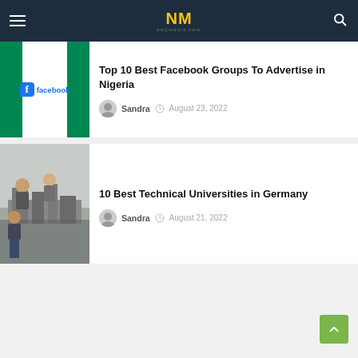NM naijmedia.com
Top 10 Best Facebook Groups To Advertise in Nigeria
Sandra  August 23, 2022
10 Best Technical Universities in Germany
Sandra  August 21, 2022